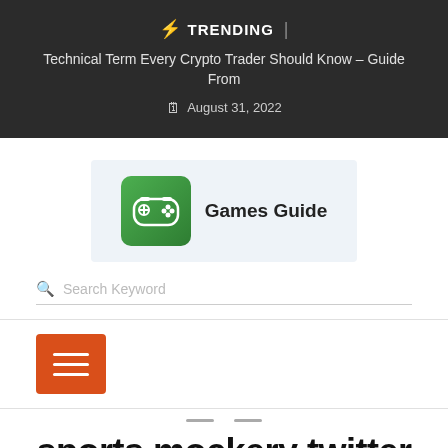⚡ TRENDING | Technical Term Every Crypto Trader Should Know – Guide From | August 31, 2022
[Figure (logo): Games Guide logo: green game controller icon on gradient green background with text 'Games Guide']
Search Keyword
[Figure (infographic): Orange hamburger menu button with three white horizontal lines]
sports mockery twitter